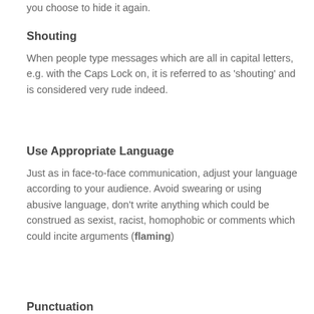you choose to hide it again.
Shouting
When people type messages which are all in capital letters, e.g. with the Caps Lock on, it is referred to as 'shouting' and is considered very rude indeed.
Use Appropriate Language
Just as in face-to-face communication, adjust your language according to your audience. Avoid swearing or using abusive language, don't write anything which could be construed as sexist, racist, homophobic or comments which could incite arguments (flaming)
Punctuation